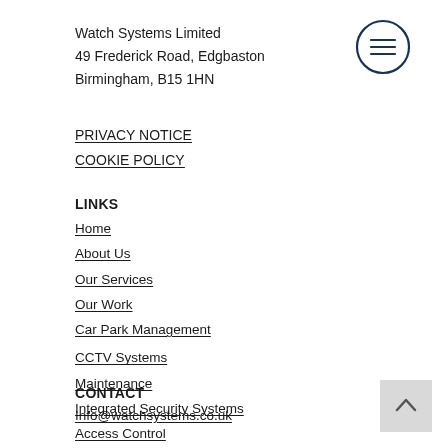Watch Systems Limited
49 Frederick Road, Edgbaston
Birmingham, B15 1HN
[Figure (illustration): Hamburger/menu icon: circle with three horizontal lines inside, dark navy outline]
PRIVACY NOTICE
COOKIE POLICY
LINKS
Home
About Us
Our Services
Our Work
Car Park Management
CCTV Systems
Maintenance
Integrated Security Systems
Access Control
Intruder Alarm Systems
CONTACT
Info@watchsystems.co.uk
Tel: 0121 455 0000
[Figure (illustration): Back to top button: grey square with upward chevron arrow]